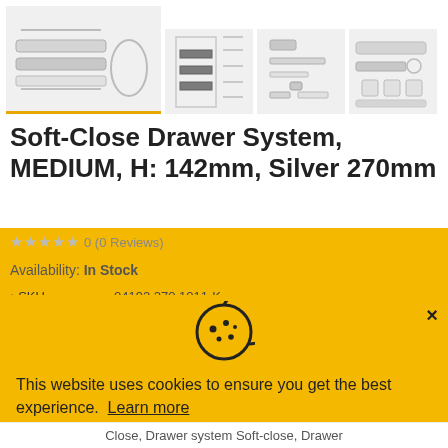[Figure (photo): Product images row showing Soft-Close Drawer System components: main large photo on left with yellow underline, and three smaller thumbnails showing drawer parts, technical drawings, and hardware]
Soft-Close Drawer System, MEDIUM, H: 142mm, Silver 270mm
0 (0 Reviews)
Availability: In Stock
[Figure (infographic): Cookie consent banner with cookie icon. Text: 'This website uses cookies to ensure you get the best experience. Learn more'. Buttons: Preferences, Accept, Decline. Close X button top right.]
This website uses cookies to ensure you get the best experience.
* SKU       04192.270.1011-K
* EA...     ...
* Vendor    Furnica
* Category  Drawer runners 270mm, Drawer slides Soft Close, Drawer system Soft-close, Drawer